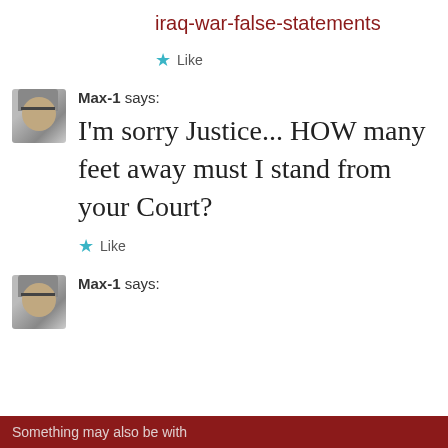iraq-war-false-statements
★ Like
Max-1 says:
I'm sorry Justice... HOW many feet away must I stand from your Court?
★ Like
Max-1 says:
Something may also be with...